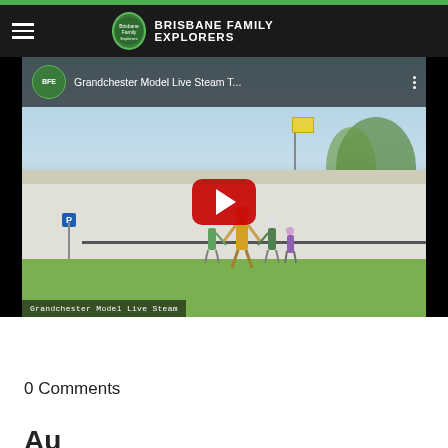Brisbane Family Explorers
[Figure (screenshot): YouTube video embed showing 'Grandchester Model Live Steam T...' with a play button overlay. The thumbnail shows a white building with people walking in front, trees in background. Video caption reads 'Grandchester Model Live Steam'. Logo shows Brisbane Family Explorers circular icon.]
0 Comments
Au